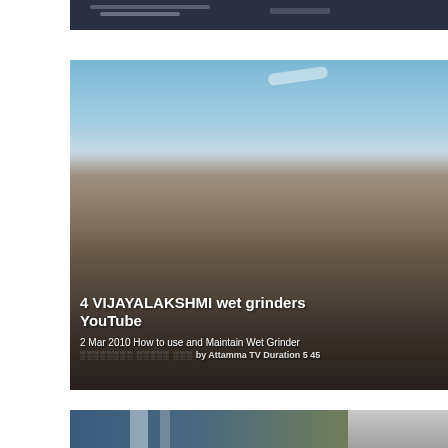[Figure (screenshot): Partially visible thumbnail at top — dark industrial equipment scene]
[Figure (screenshot): YouTube video thumbnail showing a quarry/rock pile scene with overlay text: '4 VIJAYALAKSHMI wet grinders YouTube', subtitle '2 Mar 2010 How to use and Maintain Wet Grinder', and partially visible text 'by Attamma TV Duration 5 15']
4 VIJAYALAKSHMI wet grinders YouTube
2 Mar 2010 How to use and Maintain Wet Grinder
by Attamma TV Duration 5 45
[Figure (screenshot): Partially visible thumbnail at bottom showing industrial/construction equipment in blue tones]